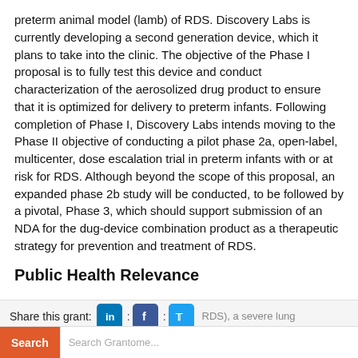preterm animal model (lamb) of RDS. Discovery Labs is currently developing a second generation device, which it plans to take into the clinic. The objective of the Phase I proposal is to fully test this device and conduct characterization of the aerosolized drug product to ensure that it is optimized for delivery to preterm infants. Following completion of Phase I, Discovery Labs intends moving to the Phase II objective of conducting a pilot phase 2a, open-label, multicenter, dose escalation trial in preterm infants with or at risk for RDS. Although beyond the scope of this proposal, an expanded phase 2b study will be conducted, to be followed by a pivotal, Phase 3, which should support submission of an NDA for the dug-device combination product as a therapeutic strategy for prevention and treatment of RDS.
Public Health Relevance
Share this grant: [LinkedIn] : [Facebook] : [Twitter] RDS), a severe lung disorder that is the most commonly seen complication in infants born prematurely is a significant health-care